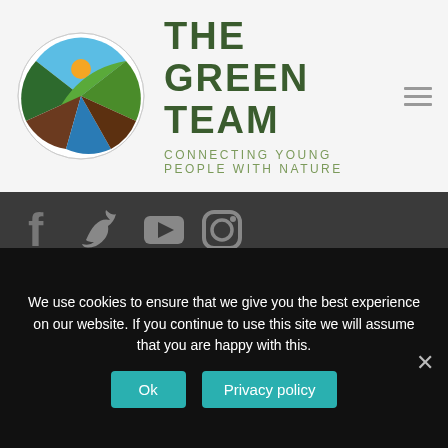[Figure (logo): The Green Team circular logo with nature imagery — sun, leaves, hills, blue water, brown earth segments]
THE GREEN TEAM
CONNECTING YOUNG PEOPLE WITH NATURE
[Figure (infographic): Social media icons: Facebook, Twitter, YouTube, Instagram, LinkedIn on dark background]
> About The Green Team
[Figure (other): Green donation button partially visible, text DONATION at angle]
We use cookies to ensure that we give you the best experience on our website. If you continue to use this site we will assume that you are happy with this.
Ok
Privacy policy